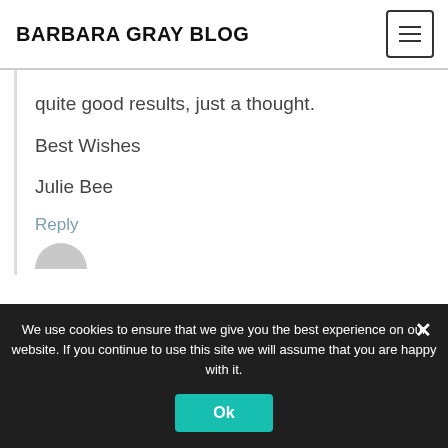BARBARA GRAY BLOG
quite good results, just a thought.
Best Wishes
Julie Bee
Reply
We use cookies to ensure that we give you the best experience on our website. If you continue to use this site we will assume that you are happy with it.